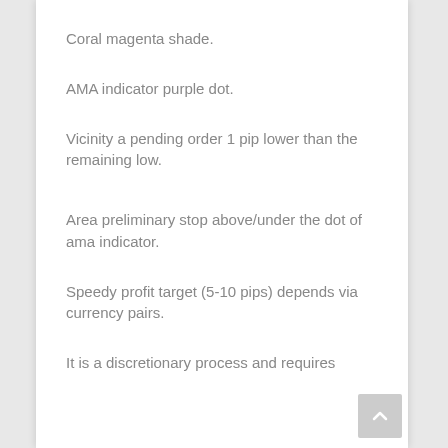Coral magenta shade.
AMA indicator purple dot.
Vicinity a pending order 1 pip lower than the remaining low.
Area preliminary stop above/under the dot of ama indicator.
Speedy profit target (5-10 pips) depends via currency pairs.
It is a discretionary process and requires